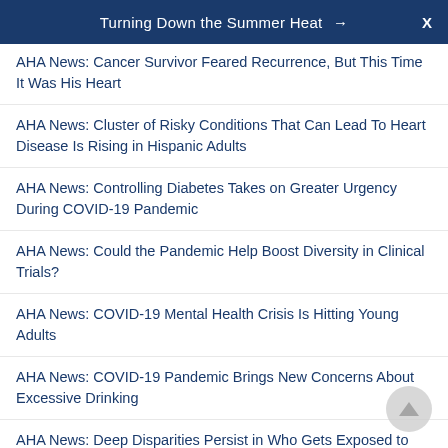Turning Down the Summer Heat →   X
AHA News: Cancer Survivor Feared Recurrence, But This Time It Was His Heart
AHA News: Cluster of Risky Conditions That Can Lead To Heart Disease Is Rising in Hispanic Adults
AHA News: Controlling Diabetes Takes on Greater Urgency During COVID-19 Pandemic
AHA News: Could the Pandemic Help Boost Diversity in Clinical Trials?
AHA News: COVID-19 Mental Health Crisis Is Hitting Young Adults
AHA News: COVID-19 Pandemic Brings New Concerns About Excessive Drinking
AHA News: Deep Disparities Persist in Who Gets Exposed to Secondhand Smoke
AHA News: Depression and Anxiety Linked to Lower...